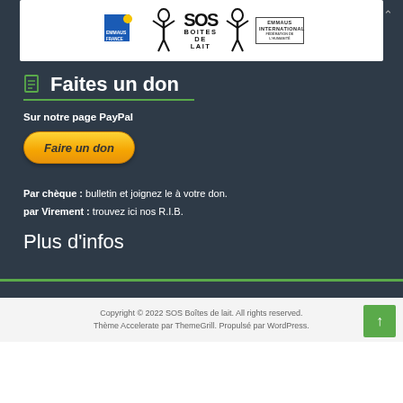[Figure (logo): Organization logos: Emmaus France, figure with raised arms, SOS Boites de Lait text, another figure, Emmaus International on white background strip]
Faites un don
Sur notre page PayPal
[Figure (illustration): PayPal donation button styled with orange-yellow gradient reading 'Faire un don' in bold italic]
Par chèque : bulletin et joignez le à votre don.
par Virement : trouvez ici nos R.I.B.
Plus d'infos
Copyright © 2022 SOS Boîtes de lait. All rights reserved.
Thème Accelerate par ThemeGrill. Propulsé par WordPress.